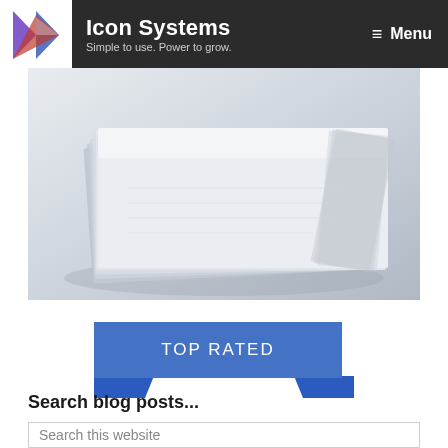Icon Systems — Simple to use. Power to grow. | Menu
[Figure (photo): Close-up photo of stacked white paper/document pages, fanned slightly, with soft shadows and blurred background]
TOP RATED
Search blog posts...
Search this website